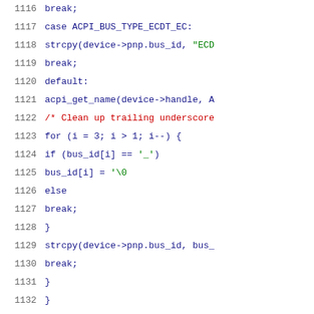[Figure (screenshot): Source code listing showing C code lines 1116-1137 with syntax highlighting. Blue for keywords and general code, green for string literals, red for comments. Line numbers displayed in gray on the left.]